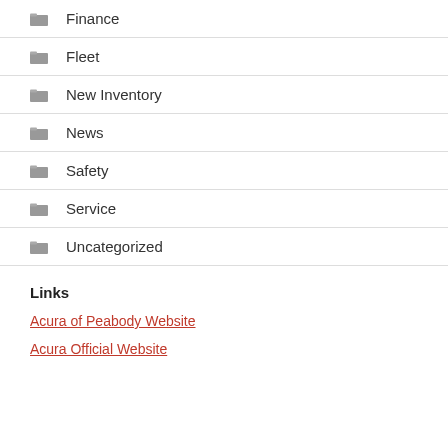Finance
Fleet
New Inventory
News
Safety
Service
Uncategorized
Links
Acura of Peabody Website
Acura Official Website